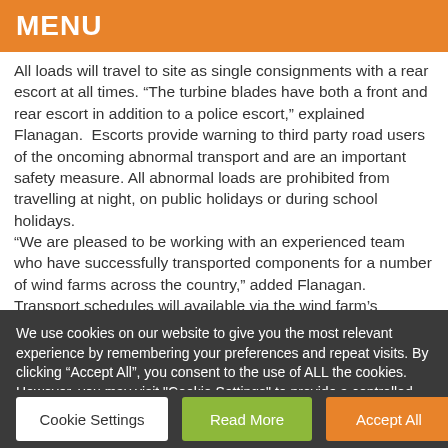MENU
All loads will travel to site as single consignments with a rear escort at all times. “The turbine blades have both a front and rear escort in addition to a police escort,” explained Flanagan.  Escorts provide warning to third party road users of the oncoming abnormal transport and are an important safety measure. All abnormal loads are prohibited from travelling at night, on public holidays or during school holidays.
“We are pleased to be working with an experienced team who have successfully transported components for a number of wind farms across the country,” added Flanagan. Transport schedules will available via the wind farm’s website, www.noupoortwind.co.za and adverts that
We use cookies on our website to give you the most relevant experience by remembering your preferences and repeat visits. By clicking “Accept All”, you consent to the use of ALL the cookies. However, you may visit "Cookie Settings" to provide a controlled consent.
Cookie Settings
Read More
Accept All